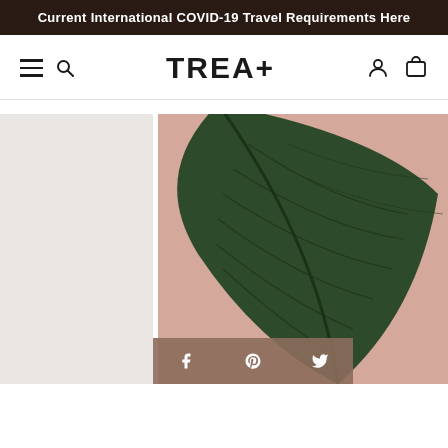Current International COVID-19 Travel Requirements Here
[Figure (logo): TREA+ brand logo in bold dark text centered in navigation bar]
[Figure (photo): Left panel: light grey/white bathroom or spa setting. Right panel: large dark green tropical banana leaf with pink/peach background. Social sharing bar at bottom with Facebook, Pinterest, Twitter icons.]